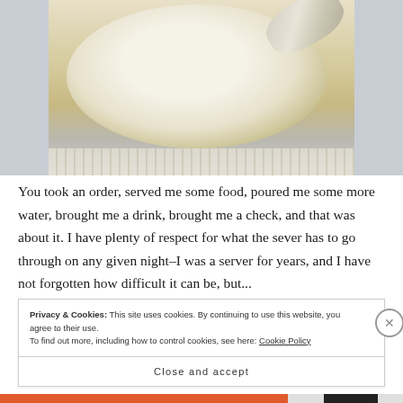[Figure (photo): A white plate with gold rim containing what appears to be soup or cream, with a silver spoon, on a lace tablecloth.]
You took an order, served me some food, poured me some more water, brought me a drink, brought me a check, and that was about it. I have plenty of respect for what the sever has to go through on any given night–I was a server for years, and I have not forgotten how difficult it can be, but...
Privacy & Cookies: This site uses cookies. By continuing to use this website, you agree to their use.
To find out more, including how to control cookies, see here: Cookie Policy
Close and accept